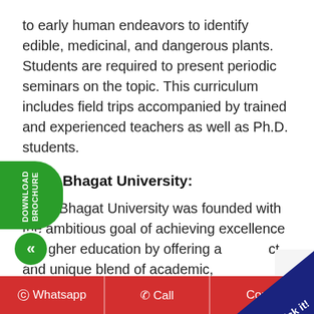to early human endeavors to identify edible, medicinal, and dangerous plants. Students are required to present periodic seminars on the topic. This curriculum includes field trips accompanied by trained and experienced teachers as well as Ph.D. students.
Desh Bhagat University:
Desh Bhagat University was founded with the ambitious goal of achieving excellence in higher education by offering a distinct and unique blend of academic, professional, and personal growth to young students. Desh Bhagat University's ultimate goal is to provide high-quality education and culture to its students to help them become not only highly successful professionals, managers, entrepreneurs, and technologists, but also fully responsible and awakened members
[Figure (other): Green download brochure button with arrow on left side, and blue click triangle overlay on bottom right]